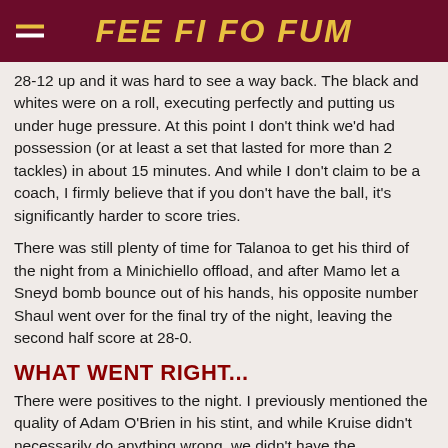FEE FI FO FUM
28-12 up and it was hard to see a way back. The black and whites were on a roll, executing perfectly and putting us under huge pressure. At this point I don't think we'd had possession (or at least a set that lasted for more than 2 tackles) in about 15 minutes. And while I don't claim to be a coach, I firmly believe that if you don't have the ball, it's significantly harder to score tries.
There was still plenty of time for Talanoa to get his third of the night from a Minichiello offload, and after Mamo let a Sneyd bomb bounce out of his hands, his opposite number Shaul went over for the final try of the night, leaving the second half score at 28-0.
WHAT WENT RIGHT...
There were positives to the night. I previously mentioned the quality of Adam O'Brien in his stint, and while Kruise didn't necessarily do anything wrong, we didn't have the